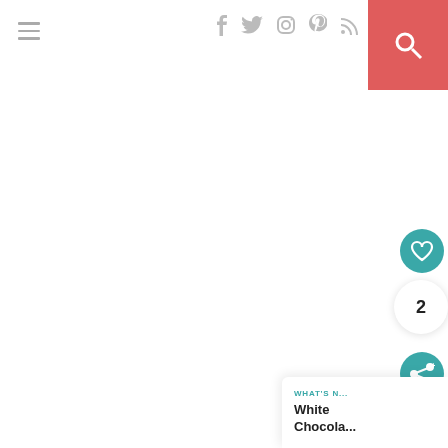[Figure (screenshot): Website header with hamburger menu icon on the left, social media icons (Facebook, Twitter, Instagram, Pinterest, RSS) in the center-right, and a red search button on the far right.]
[Figure (screenshot): White blank main content area (image not loaded).]
[Figure (screenshot): Teal heart/like button, count bubble showing 2, teal share button, and a 'WHAT'S NEXT: White Chocola...' card in the bottom right corner.]